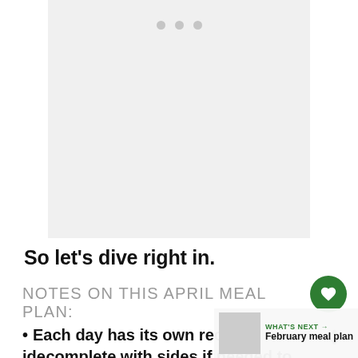[Figure (photo): Light grey image placeholder area with three dot indicators at top suggesting a slideshow/carousel]
So let’s dive right in.
NOTES ON THIS APRIL MEAL PLAN:
Each day has its own recipe idea complete with sides if needed to make a full meal (Some things like t...
WHAT’S NEXT → February meal plan